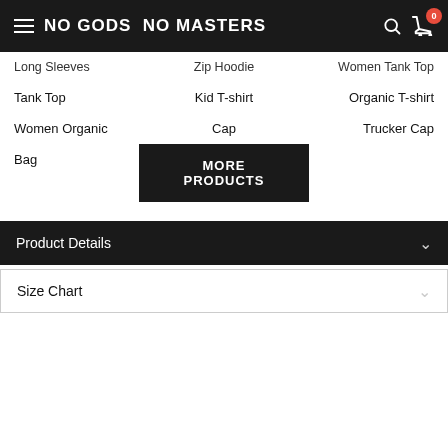NO GODS NO MASTERS
Long Sleeves
Zip Hoodie
Women Tank Top
Tank Top
Kid T-shirt
Organic T-shirt
Women Organic
Cap
Trucker Cap
Bag
MORE PRODUCTS
Product Details
Size Chart